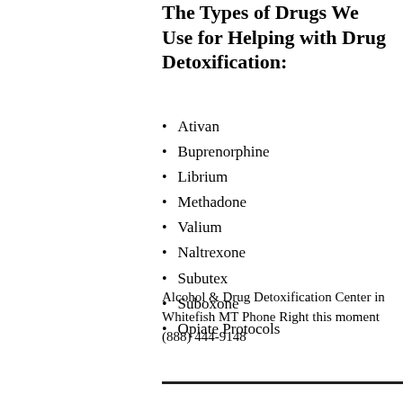The Types of Drugs We Use for Helping with Drug Detoxification:
Ativan
Buprenorphine
Librium
Methadone
Valium
Naltrexone
Subutex
Suboxone
Opiate Protocols
Alcohol & Drug Detoxification Center in Whitefish MT Phone Right this moment (888) 444-9148